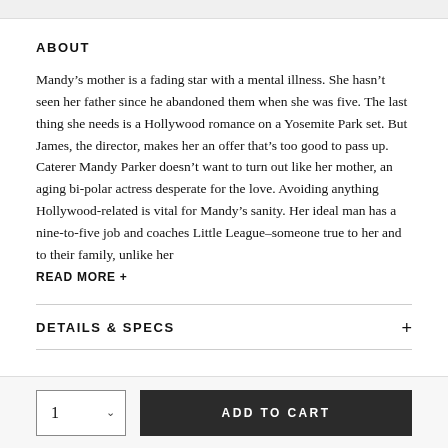ABOUT
Mandy’s mother is a fading star with a mental illness. She hasn’t seen her father since he abandoned them when she was five. The last thing she needs is a Hollywood romance on a Yosemite Park set. But James, the director, makes her an offer that’s too good to pass up.
Caterer Mandy Parker doesn’t want to turn out like her mother, an aging bi-polar actress desperate for the love. Avoiding anything Hollywood-related is vital for Mandy’s sanity. Her ideal man has a nine-to-five job and coaches Little League–someone true to her and to their family, unlike her
READ MORE +
DETAILS & SPECS